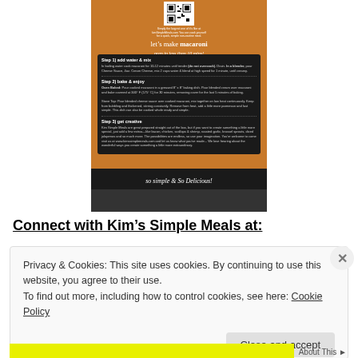[Figure (photo): Back of an orange Kim's Simple Meals macaroni box showing instructions: let's make macaroni, prep in less than 10 mins, Step 1 add water & mix, Step 2 bake & enjoy, Step 3 get creative, and 'so simple & So Delicious!' banner at bottom]
Connect with Kim's Simple Meals at:
Privacy & Cookies: This site uses cookies. By continuing to use this website, you agree to their use.
To find out more, including how to control cookies, see here: Cookie Policy